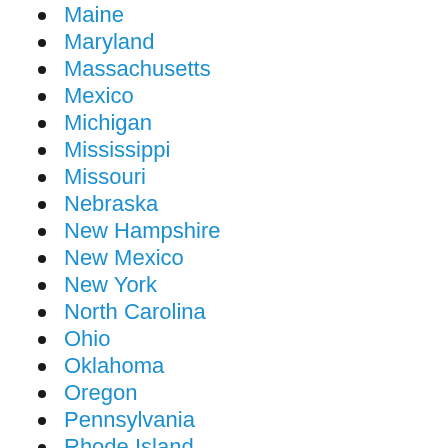Maine
Maryland
Massachusetts
Mexico
Michigan
Mississippi
Missouri
Nebraska
New Hampshire
New Mexico
New York
North Carolina
Ohio
Oklahoma
Oregon
Pennsylvania
Rhode Island